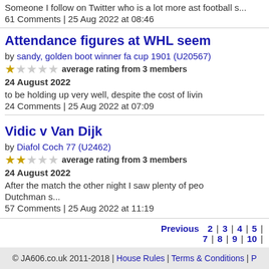Someone I follow on Twitter who is a lot more ast football s...
61 Comments | 25 Aug 2022 at 08:46
Attendance figures at WHL seem
by sandy, golden boot winner fa cup 1901 (U20567)
★☆☆☆☆ average rating from 3 members
24 August 2022
to be holding up very well, despite the cost of livin
24 Comments | 25 Aug 2022 at 07:09
Vidic v Van Dijk
by Diafol Coch 77 (U2462)
★★☆☆☆ average rating from 3 members
24 August 2022
After the match the other night I saw plenty of peo Dutchman s...
57 Comments | 25 Aug 2022 at 11:19
Previous 2 | 3 | 4 | 5 | 7 | 8 | 9 | 10 |
© JA606.co.uk 2011-2018 | House Rules | Terms & Conditions |